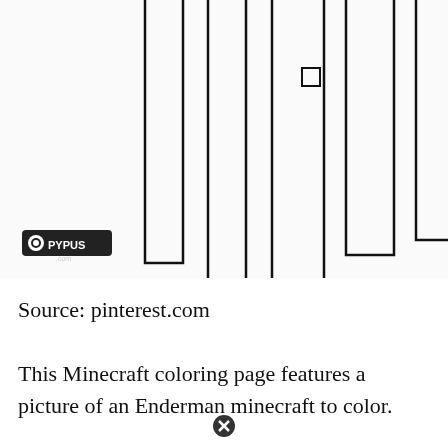[Figure (illustration): Partial Minecraft Enderman coloring page showing tall vertical rectangular strips/legs of the Enderman character, with a small square outline visible on one strip. Watermark text 'edited by EPR for Pypus.com' rotated vertically on left side, and a Pypus.com logo badge in bottom-left of image.]
Source: pinterest.com
This Minecraft coloring page features a picture of an Enderman minecraft to color.